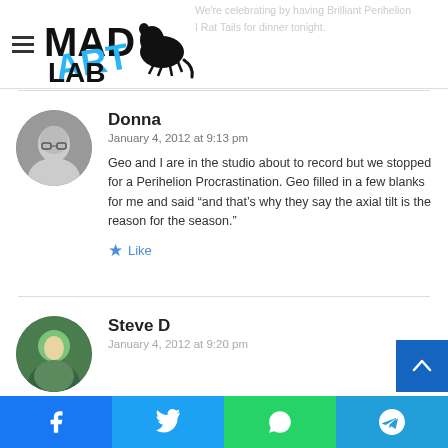Mad Art Lab logo and navigation header
We're celebrating by having Brilliant Perihelion I Rat Tails for dinner tonight.
Donna
January 4, 2012 at 9:13 pm
Geo and I are in the studio about to record but we stopped for a Perihelion Procrastination. Geo filled in a few blanks for me and said “and that’s why they say the axial tilt is the reason for the season.”
Like
Steve D
January 4, 2012 at 9:20 pm